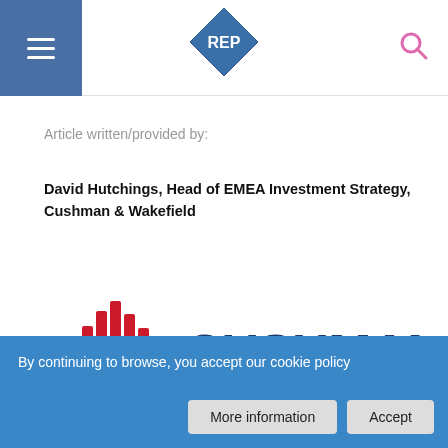REP navigation header with menu and search
Article written/provided by:
David Hutchings, Head of EMEA Investment Strategy, Cushman & Wakefield
[Figure (logo): Cushman & Wakefield logo — red building icon on the left, dark navy text CUSHMAN & WAKEFIELD with registered trademark symbol on the right]
By continuing to browse, you accept our cookie policy
More information
Accept